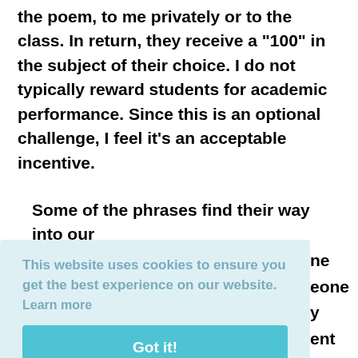the poem, to me privately or to the class. In return, they receive a "100" in the subject of their choice. I do not typically reward students for academic performance. Since this is an optional challenge, I feel it's an acceptable incentive.
Some of the phrases find their way into our
[partially obscured text: ne, eone, y, ent, .]
This website uses cookies to ensure you get the best experience on our website. Learn more